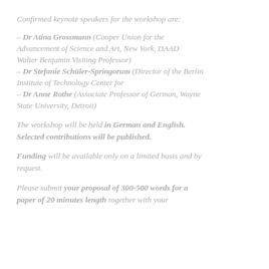Confirmed keynote speakers for the workshop are:
– Dr Atina Grossmann (Cooper Union for the Advancement of Science and Art, New York, DAAD Walter Benjamin Visiting Professor)
– Dr Stefanie Schüler-Springorum (Director of the Berlin Institute of Technology Center for
– Dr Anne Rothe (Associate Professor of German, Wayne State University, Detroit)
The workshop will be held in German and English. Selected contributions will be published.
Funding will be available only on a limited basis and by request.
Please submit your proposal of 300-500 words for a paper of 20 minutes length together with your